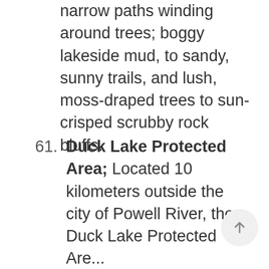narrow paths winding around trees; boggy lakeside mud, to sandy, sunny trails, and lush, moss-draped trees to sun-crisped scrubby rock bluffs.
61. Duck Lake Protected Area; Located 10 kilometers outside the city of Powell River, the Duck Lake Protected Area...